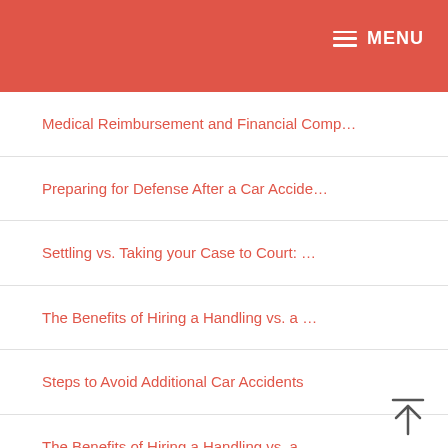MENU
Medical Reimbursement and Financial Comp…
Preparing for Defense After a Car Accide…
Settling vs. Taking your Case to Court: …
The Benefits of Hiring a Handling vs. a …
Steps to Avoid Additional Car Accidents
The Benefits of Hiring a Handling vs. a …
What are the Main Reasons for Car Accide…
What to Expect at the Initial Meeting wi…